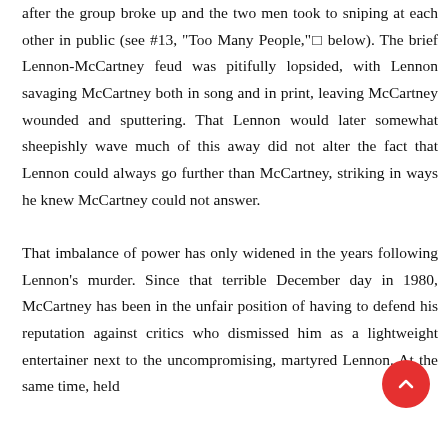after the group broke up and the two men took to sniping at each other in public (see #13, "Too Many People,"□ below). The brief Lennon-McCartney feud was pitifully lopsided, with Lennon savaging McCartney both in song and in print, leaving McCartney wounded and sputtering. That Lennon would later somewhat sheepishly wave much of this away did not alter the fact that Lennon could always go further than McCartney, striking in ways he knew McCartney could not answer.

That imbalance of power has only widened in the years following Lennon's murder. Since that terrible December day in 1980, McCartney has been in the unfair position of having to defend his reputation against critics who dismissed him as a lightweight entertainer next to the uncompromising, martyred Lennon. At the same time, held